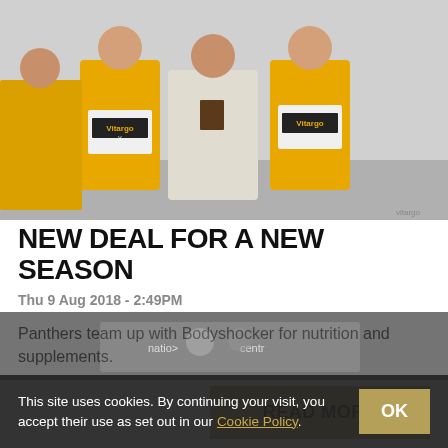[Figure (photo): Three people in yellow jerseys and one in a white shirt holding white Vitargo branded containers/boxes, posed for a photo]
NEW DEAL FOR A NEW SEASON
Thu 9 Aug 2018 - 2:49PM
Panthers team up with Bodyshocker for nutrition and supplements.
READ MORE
[Figure (photo): Partially visible hockey game photo behind cookie consent bar]
This site uses cookies. By continuing your visit, you accept their use as set out in our Cookie Policy.